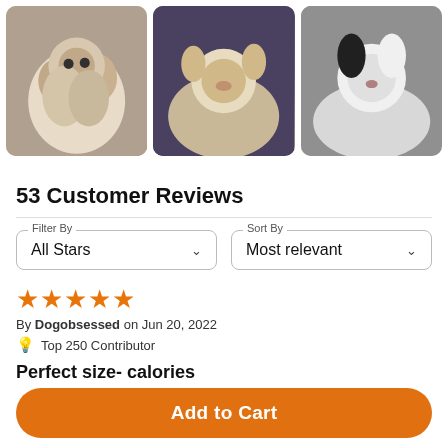[Figure (photo): Three pet photos in a row: a cat lying on its back, a small dog on a purple mat, and a black-and-white dog on a grey dog bed]
53 Customer Reviews
Filter By: All Stars | Sort By: Most relevant
★★★★★ By Dogobsessed on Jun 20, 2022 🔆 Top 250 Contributor
Perfect size- calories
Healthy ingredients, perfect size for my dog who needs
Add to Cart